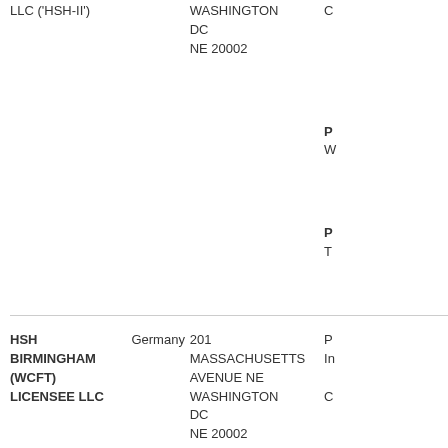| LLC ('HSH-II') |  | WASHINGTON
DC
NE 20002 | C

P
W

P
T |
| HSH BIRMINGHAM (WCFT) LICENSEE LLC | Germany | 201
MASSACHUSETTS
AVENUE NE
WASHINGTON
DC
NE 20002 | P
In

C |